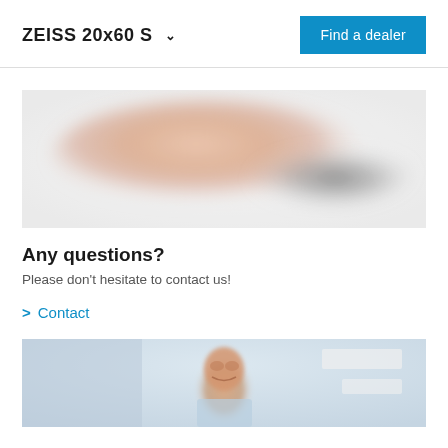ZEISS 20x60 S
Find a dealer
[Figure (photo): Blurred close-up photo of hands, likely a handshake or product interaction, light grey and skin-tone colors]
Any questions?
Please don’t hesitate to contact us!
> Contact
[Figure (photo): Photo of a smiling middle-aged man in a light blue shirt, in an office or industrial environment]